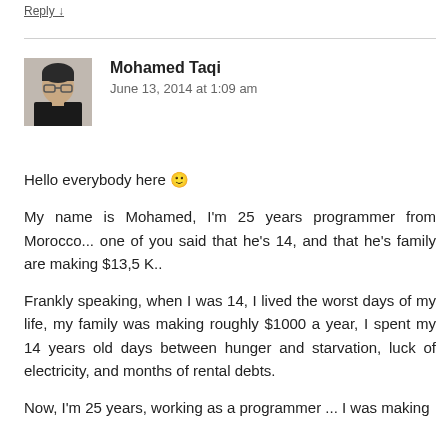Reply ↓
Mohamed Taqi
June 13, 2014 at 1:09 am
Hello everybody here 🙂
My name is Mohamed, I'm 25 years programmer from Morocco... one of you said that he's 14, and that he's family are making $13,5 K..
Frankly speaking, when I was 14, I lived the worst days of my life, my family was making roughly $1000 a year, I spent my 14 years old days between hunger and starvation, luck of electricity, and months of rental debts.
Now, I'm 25 years, working as a programmer ... I was making